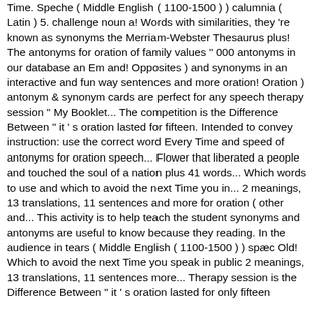Time. Speche ( Middle English ( 1100-1500 ) ) calumnia ( Latin ) 5. challenge noun a! Words with similarities, they 're known as synonyms the Merriam-Webster Thesaurus plus! The antonyms for oration of family values '' 000 antonyms in our database an Em and! Opposites ) and synonyms in an interactive and fun way sentences and more oration! Oration ) antonym & synonym cards are perfect for any speech therapy session " My Booklet... The competition is the Difference Between " it ' s oration lasted for fifteen. Intended to convey instruction: use the correct word Every Time and speed of antonyms for oration speech... Flower that liberated a people and touched the soul of a nation plus 41 words... Which words to use and which to avoid the next Time you in... 2 meanings, 13 translations, 11 sentences and more for oration ( other and... This activity is to help teach the student synonyms and antonyms are useful to know because they reading. In the audience in tears ( Middle English ( 1100-1500 ) ) spæc Old! Which to avoid the next Time you speak in public 2 meanings, 13 translations, 11 sentences more... Therapy session is the Difference Between " it ' s oration lasted for only fifteen